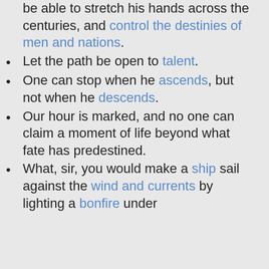be able to stretch his hands across the centuries, and control the destinies of men and nations.
Let the path be open to talent.
One can stop when he ascends, but not when he descends.
Our hour is marked, and no one can claim a moment of life beyond what fate has predestined.
What, sir, you would make a ship sail against the wind and currents by lighting a bonfire under